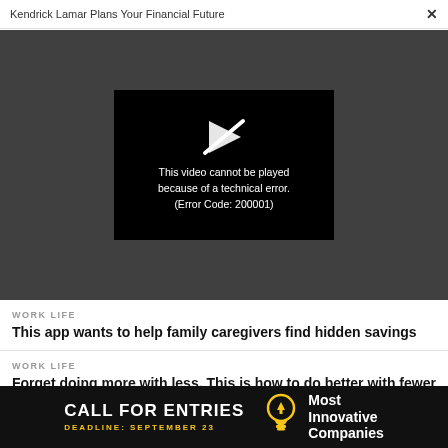Kendrick Lamar Plans Your Financial Future  ×
[Figure (screenshot): Video player showing error message: 'This video cannot be played because of a technical error. (Error Code: 200001)' with a crossed-out play button icon on black background, set within a dark grey video area.]
WORK LIFE
This app wants to help family caregivers find hidden savings
WORK LIFE
Forget doing more with less. This is how to do better with fewer after a layoff
[Figure (infographic): Black advertisement banner reading 'CALL FOR ENTRIES DEADLINE: SEPTEMBER 23' with a lightbulb icon and 'Most Innovative Companies' text on the right.]